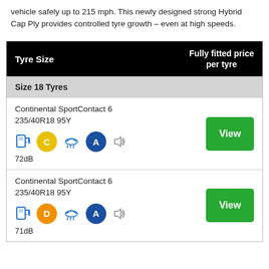vehicle safely up to 215 mph. This newly designed strong Hybrid Cap Ply provides controlled tyre growth – even at high speeds.
| Tyre Size | Fully fitted price per tyre |
| --- | --- |
| Size 18 Tyres |  |
| Continental SportContact 6 235/40R18 95Y [C] [rain] [A] [sound] 72dB | View |
| Continental SportContact 6 235/40R18 95Y [D] [rain] [A] [sound] 71dB | View |